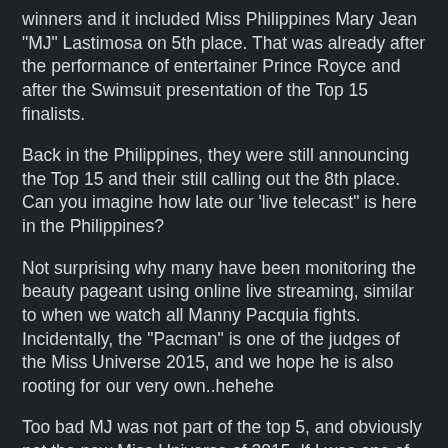winners and it included Miss Philippines Mary Jean "MJ" Lastimosa on 5th place. That was already after the performance of entertainer Prince Royce and after the Swimsuit presentation of the Top 15 finalists.
Back in the Philippines, they were still announcing the Top 15 and their still calling out the 8th place. Can you imagine how late our 'live telecast" is here in the Philippines?
Not surprising why many have been monitoring the beauty pageant using online live streaming, similar to when we watch all Manny Pacquia fights. Incidentally, the "Pacman" is one of the judges of the Miss Universe 2015, and we hope he is also rooting for our very own..hehehe
Too bad MJ was not part of the top 5, and obviously not the new Miss Universe of 2015. If I was one of the judges, I would put Mary Jean Lastimosa on top of my list. She should be the winner of this year's annual Miss universe beauty pageant.
Nonetheless, every contestant is already a winner for all are